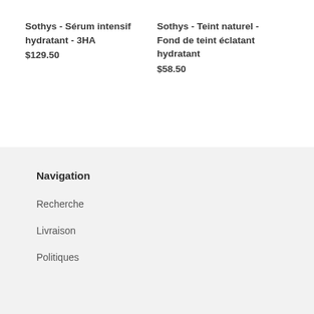Sothys - Sérum intensif hydratant - 3HA
$129.50
Sothys - Teint naturel - Fond de teint éclatant hydratant
$58.50
Navigation
Recherche
Livraison
Politiques